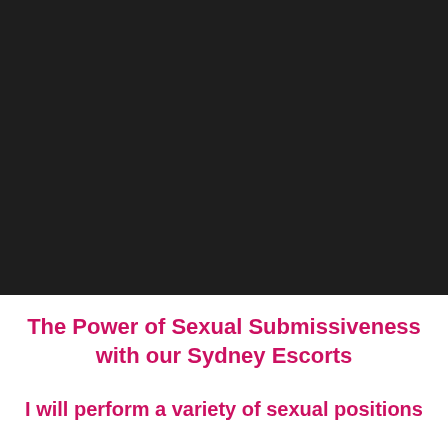[Figure (photo): Large dark/black image taking up the top portion of the page]
The Power of Sexual Submissiveness with our Sydney Escorts
I will perform a variety of sexual positions